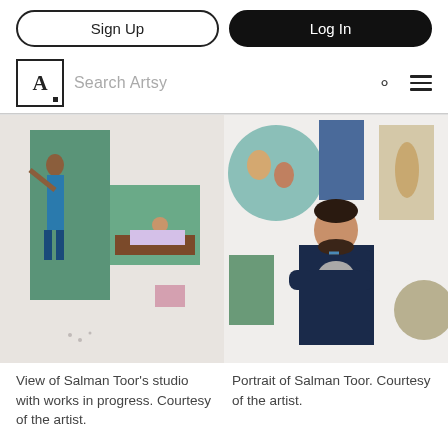Sign Up | Log In
Search Artsy
[Figure (photo): View of Salman Toor's studio wall with paintings in progress, including a tall green vertical painting with a standing figure and a smaller painting of a reclining figure on a sofa.]
[Figure (photo): Portrait of Salman Toor standing with arms crossed in front of a white wall hung with multiple paintings including round tondos and rectangular canvases.]
View of Salman Toor's studio with works in progress. Courtesy of the artist.
Portrait of Salman Toor. Courtesy of the artist.